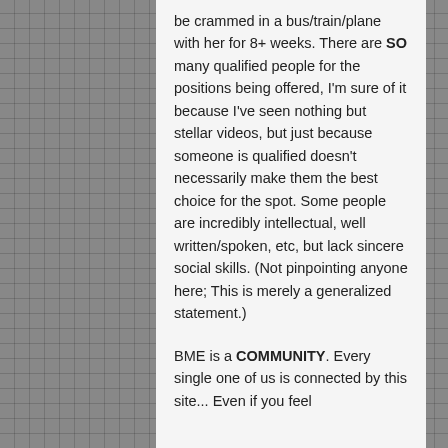be crammed in a bus/train/plane with her for 8+ weeks. There are SO many qualified people for the positions being offered, I'm sure of it because I've seen nothing but stellar videos, but just because someone is qualified doesn't necessarily make them the best choice for the spot. Some people are incredibly intellectual, well written/spoken, etc, but lack sincere social skills. (Not pinpointing anyone here; This is merely a generalized statement.)
BME is a COMMUNITY. Every single one of us is connected by this site... Even if you feel